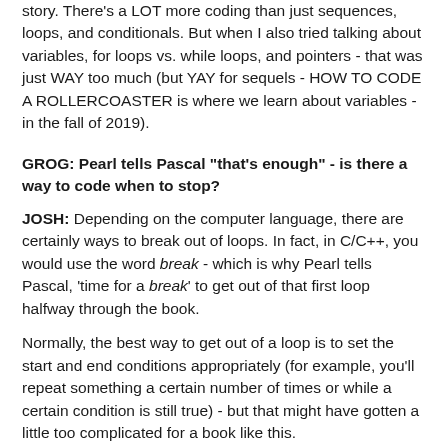story. There's a LOT more coding than just sequences, loops, and conditionals. But when I also tried talking about variables, for loops vs. while loops, and pointers - that was just WAY too much (but YAY for sequels - HOW TO CODE A ROLLERCOASTER is where we learn about variables - in the fall of 2019).
GROG: Pearl tells Pascal "that's enough" - is there a way to code when to stop?
JOSH: Depending on the computer language, there are certainly ways to break out of loops. In fact, in C/C++, you would use the word break - which is why Pearl tells Pascal, 'time for a break' to get out of that first loop halfway through the book.
Normally, the best way to get out of a loop is to set the start and end conditions appropriately (for example, you'll repeat something a certain number of times or while a certain condition is still true) - but that might have gotten a little too complicated for a book like this.
GROG: And so we see that Pascal will use a while loop...